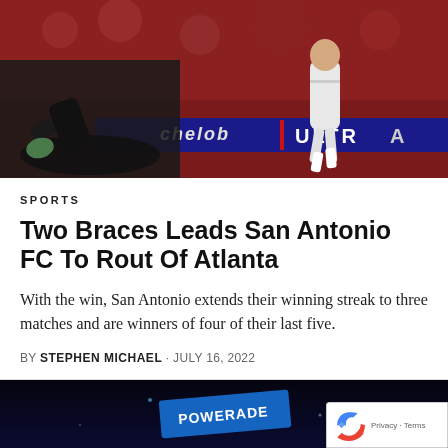[Figure (photo): Action photo of soccer players during a match, one player in black fallen to the ground and another in white dribbling, with Michelob Ultra advertisement banner in background and red-filled stadium stands]
SPORTS
Two Braces Leads San Antonio FC To Rout Of Atlanta
With the win, San Antonio extends their winning streak to three matches and are winners of four of their last five.
BY STEPHEN MICHAEL · JULY 16, 2022
[Figure (photo): Partial photo at bottom showing a sports scene with blue Powerade signage visible, dark background]